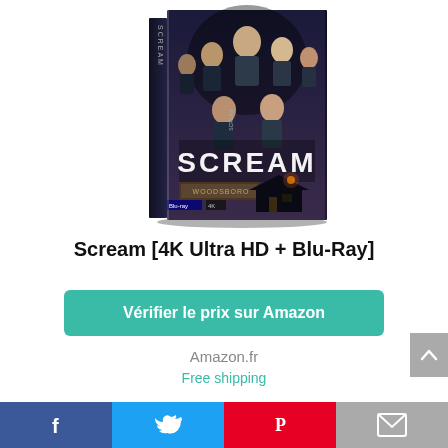[Figure (photo): Scream 4K Ultra HD + Blu-Ray DVD box product image showing the movie cover with cast members and SCREAM title, WOODSBORO sign visible]
Scream [4K Ultra HD + Blu-Ray]
Vérifier le prix sur Amazon
Amazon.fr
Free shipping
[Figure (illustration): Two cartoon character icons side by side - left on purple background, right on yellow background]
[Figure (illustration): Social media bar with Facebook, Twitter, Pinterest, and email icons]